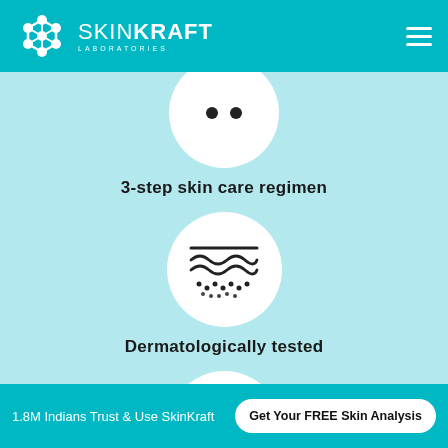[Figure (logo): SkinKraft Laboratories logo with hexagonal icon in white on teal header]
[Figure (illustration): White circle with two dots (eyes) icon — partially visible at top, representing a face or step icon]
3-step skin care regimen
[Figure (illustration): White circle with a skin cross-section icon showing wavy lines and dots, representing dermatological testing]
Dermatologically tested
[Figure (illustration): White circle with a checkmark icon]
Safe ingredients
1.8M Indians Trust & Use SkinKraft   Get Your FREE Skin Analysis